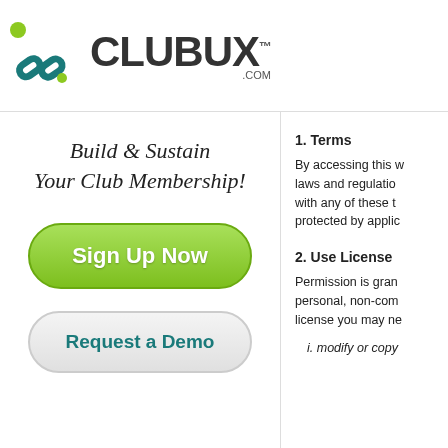[Figure (logo): ClubUX.com logo with chain-link icon and bold CLUBUX text with TM superscript and .COM subtext]
Build & Sustain
Your Club Membership!
[Figure (other): Green rounded button labeled 'Sign Up Now']
[Figure (other): Grey rounded button labeled 'Request a Demo']
1. Terms
By accessing this w... laws and regulatio... with any of these t... protected by applic...
2. Use License
Permission is gran... personal, non-com... license you may ne...
i. modify or copy...